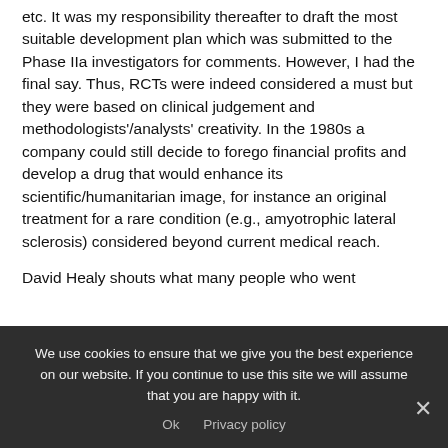etc. It was my responsibility thereafter to draft the most suitable development plan which was submitted to the Phase IIa investigators for comments. However, I had the final say. Thus, RCTs were indeed considered a must but they were based on clinical judgement and methodologists'/analysts' creativity. In the 1980s a company could still decide to forego financial profits and develop a drug that would enhance its scientific/humanitarian image, for instance an original treatment for a rare condition (e.g., amyotrophic lateral sclerosis) considered beyond current medical reach.

David Healy shouts what many people who went
We use cookies to ensure that we give you the best experience on our website. If you continue to use this site we will assume that you are happy with it.
Ok   Privacy policy